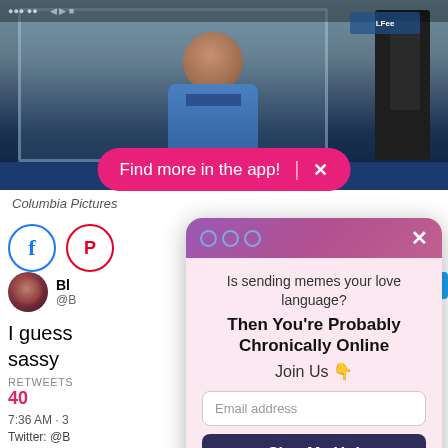[Figure (photo): Photo of a person smiling behind a service counter window, with a blue bar at the bottom and another figure visible on the right side]
Find more in the app! ×
Columbia Pictures
[Figure (screenshot): Screenshot of a social media page with Facebook and Pinterest share icons, a tweet by a user with handle starting @B showing partial text 'I guess sassy' with 40 retweets, time 7:36 AM, Twitter: @B, and a Following button]
[Figure (screenshot): Modal popup with purple gradient header, three circle dots, X close button. Body text: 'Is sending memes your love language? Then You're Probably Chronically Online Join Us 👇' with email address input field, 'Sign Me Up!' button, and 'No Thanks' underlined link]